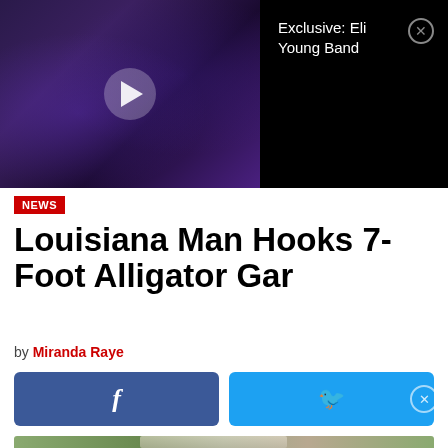[Figure (screenshot): Video thumbnail showing a band performing on stage with purple/blue stage lighting, a play button overlay in the center, and a dark right panel showing 'Exclusive: Eli Young Band' text with a close (X) button]
NEWS
Louisiana Man Hooks 7-Foot Alligator Gar
by Miranda Raye
[Figure (screenshot): Social media share buttons: Facebook (blue) and Twitter (cyan/light blue) share buttons side by side]
[Figure (photo): Partial photo at bottom of page showing a man standing outdoors near a large tree, appears to be holding or standing next to a very large fish]